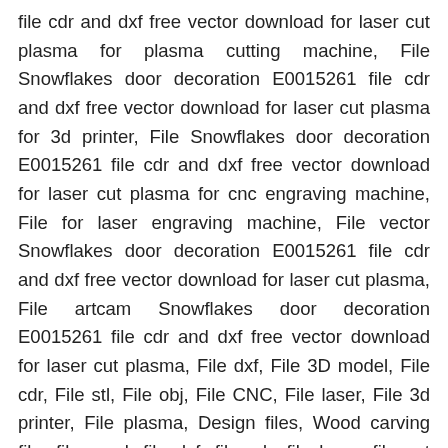file cdr and dxf free vector download for laser cut plasma for plasma cutting machine, File Snowflakes door decoration E0015261 file cdr and dxf free vector download for laser cut plasma for 3d printer, File Snowflakes door decoration E0015261 file cdr and dxf free vector download for laser cut plasma for cnc engraving machine, File for laser engraving machine, File vector Snowflakes door decoration E0015261 file cdr and dxf free vector download for laser cut plasma, File artcam Snowflakes door decoration E0015261 file cdr and dxf free vector download for laser cut plasma, File dxf, File 3D model, File cdr, File stl, File obj, File CNC, File laser, File 3d printer, File plasma, Design files, Wood carving file, file corel, file dxf, file cdr, file laser, file cut laser, file plasma, laser engraving filen, free laser cutting files, acrylic laser cutting files, laser cutting files free download, free svg files for laser engraving, laser cutting templates, laser engraving files download, free 3d laser engraving files, svg laser cut files, laser cutting files free download, free laser engraving clipart, free vector files for laser engraving, free svg files for